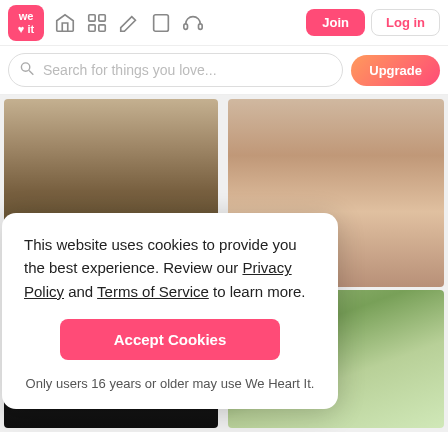We Heart It - Navigation bar with logo, icons, Join and Log in buttons
Search for things you love...
[Figure (screenshot): We Heart It website screenshot showing a grid of photo content - person in knit hat, smiling girl with subtitle 't you go and still love you.', teenage group outdoors, person sitting alone]
This website uses cookies to provide you the best experience. Review our Privacy Policy and Terms of Service to learn more.
Accept Cookies
Only users 16 years or older may use We Heart It.